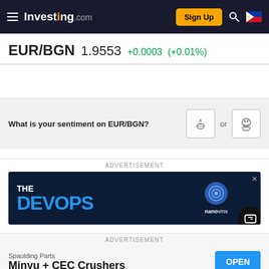Investing.com | Sign Up
EUR/BGN 1.9553 +0.0003 (+0.01%)
What is your sentiment on EUR/BGN?
ADVERTISEMENT
[Figure (infographic): Advertisement banner for THE DEVOPS with nanovms branding on dark blue background]
ADVERTISEMENT
[Figure (infographic): Advertisement for Spaulding Parts - Minyu + CEC Crushers with OPEN button]